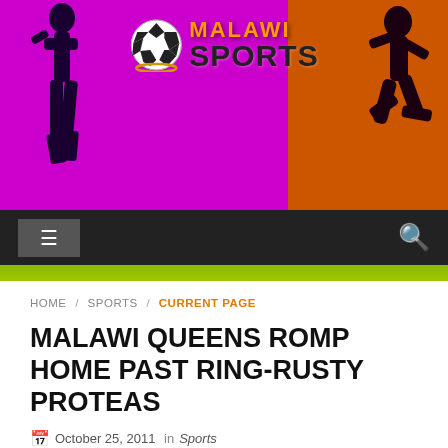[Figure (logo): Malawi Sports website header banner with purple and orange background, silhouettes of athletes, soccer ball and 'MALAWI SPORTS' text logo]
HOME / SPORTS / CURRENT PAGE
MALAWI QUEENS ROMP HOME PAST RING-RUSTY PROTEAS
October 25, 2011  in  Sports
tags Netball, News Today, Sports  0 Comment